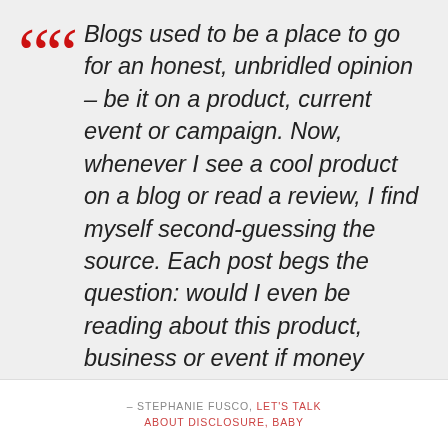Blogs used to be a place to go for an honest, unbridled opinion – be it on a product, current event or campaign. Now, whenever I see a cool product on a blog or read a review, I find myself second-guessing the source. Each post begs the question: would I even be reading about this product, business or event if money hadn't exchanged hands?
– STEPHANIE FUSCO, LET'S TALK ABOUT DISCLOSURE, BABY